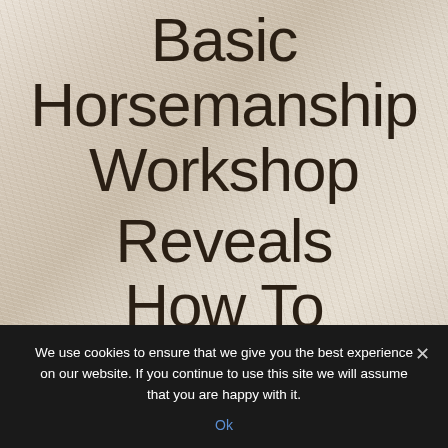Basic Horsemanship Workshop Reveals How To Establish A Safe Presence With Your Horse &
We use cookies to ensure that we give you the best experience on our website. If you continue to use this site we will assume that you are happy with it.
Ok